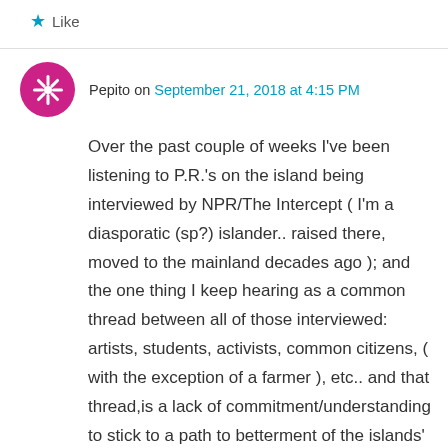★ Like
Pepito on September 21, 2018 at 4:15 PM
Over the past couple of weeks I've been listening to P.R.'s on the island being interviewed by NPR/The Intercept ( I'm a diasporatic (sp?) islander.. raised there, moved to the mainland decades ago ); and the one thing I keep hearing as a common thread between all of those interviewed: artists, students, activists, common citizens, ( with the exception of a farmer ), etc.. and that thread,is a lack of commitment/understanding to stick to a path to betterment of the islands' future condition.